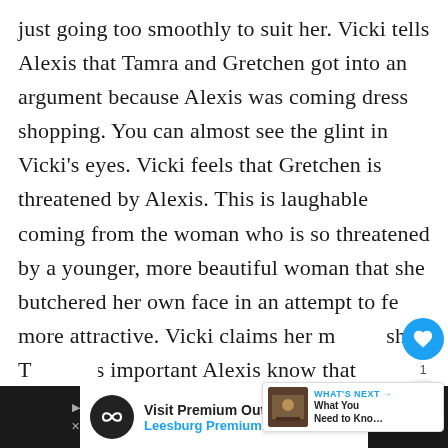just going too smoothly to suit her. Vicki tells Alexis that Tamra and Gretchen got into an argument because Alexis was coming dress shopping. You can almost see the glint in Vicki's eyes. Vicki feels that Gretchen is threatened by Alexis. This is laughable coming from the woman who is so threatened by a younger, more beautiful woman that she butchered her own face in an attempt to feel more attractive. Vicki claims her mo... she thinks it's important Alexis know that
[Figure (screenshot): Social media interaction buttons: blue heart/like button and a share button, with count of 1]
[Figure (screenshot): What's Next card showing a video thumbnail and text 'What You Need to Kno...']
[Figure (screenshot): Advertisement bar at the bottom: Visit Premium Outlets - Leesburg Premium Outlets, with logo and navigation arrow]